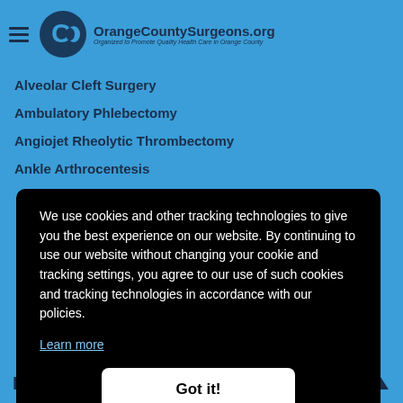OrangeCountySurgeons.org — Organized to Promote Quality Health Care in Orange County
Alveolar Cleft Surgery
Ambulatory Phlebectomy
Angiojet Rheolytic Thrombectomy
Ankle Arthrocentesis
We use cookies and other tracking technologies to give you the best experience on our website. By continuing to use our website without changing your cookie and tracking settings, you agree to our use of such cookies and tracking technologies in accordance with our policies.
Learn more
Got it!
HEALTH SOLUTIONS